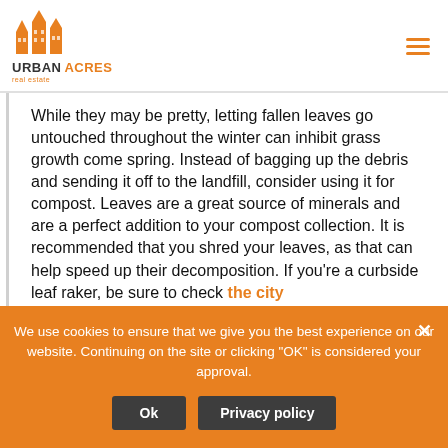[Figure (logo): Urban Acres Real Estate logo with orange building silhouette icons and text 'URBAN ACRES real estate']
While they may be pretty, letting fallen leaves go untouched throughout the winter can inhibit grass growth come spring. Instead of bagging up the debris and sending it off to the landfill, consider using it for compost. Leaves are a great source of minerals and are a perfect addition to your compost collection. It is recommended that you shred your leaves, as that can help speed up their decomposition. If you're a curbside leaf raker, be sure to check the city schedule for leaf removal...
We use cookies to ensure that we give you the best experience on our website. Continuing on the site or clicking "OK" is considered your approval.
Ok
Privacy policy